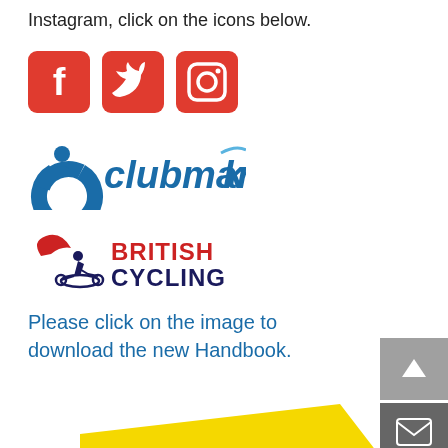Instagram, click on the icons below.
[Figure (illustration): Three social media icons: Facebook (red rounded square with F), Twitter (red rounded square with bird), Instagram (red rounded square with camera outline)]
[Figure (logo): Clubmark logo: blue circular icon with figure and blue italic text 'clubmark' with a swoosh]
[Figure (logo): British Cycling logo: winged cyclist figure in red and navy blue with text 'BRITISH CYCLING' in red and dark blue]
Please click on the image to download the new Handbook.
[Figure (illustration): Partial view of a yellow angled document/handbook at the bottom of the page]